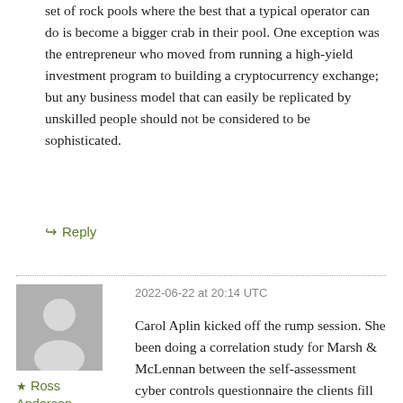set of rock pools where the best that a typical operator can do is become a bigger crab in their pool. One exception was the entrepreneur who moved from running a high-yield investment program to building a cryptocurrency exchange; but any business model that can easily be replicated by unskilled people should not be considered to be sophisticated.
↪ Reply
2022-06-22 at 20:14 UTC
[Figure (illustration): Grey avatar silhouette of a person (generic user profile image)]
★ Ross Anderson
Carol Aplin kicked off the rump session. She been doing a correlation study for Marsh & McLennan between the self-assessment cyber controls questionnaire the clients fill out and the claims they later file. Firms with